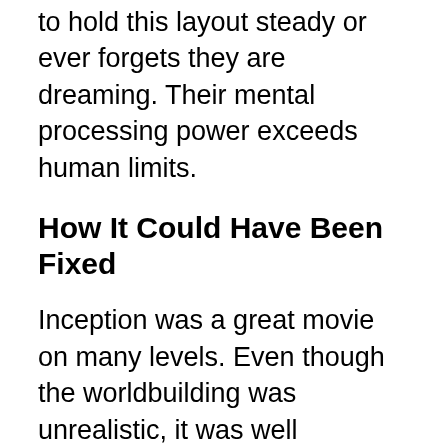to hold this layout steady or ever forgets they are dreaming. Their mental processing power exceeds human limits.
How It Could Have Been Fixed
Inception was a great movie on many levels. Even though the worldbuilding was unrealistic, it was well established and consistent. All they had to do was make their altered state of consciousness different from normal REM sleep. If this state was a recently invented “hyper sleep” of some kind, they could have created new rules for it without contradicting what we already know. Just by establishing that most people can’t distinguish this special sleep state from normal dreams, they could have